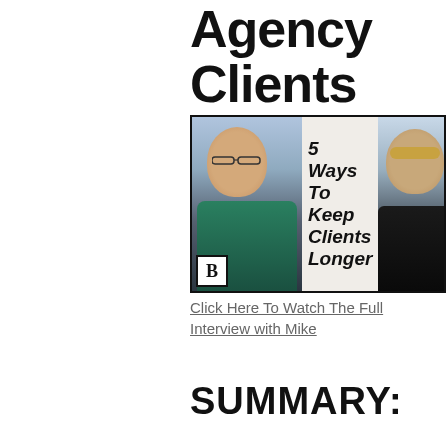Agency Clients Longer
[Figure (photo): Thumbnail image showing two men with text '5 Ways To Keep Clients Longer' overlaid on a white card in the center. A 'B' logo appears in the bottom left corner.]
Click Here To Watch The Full Interview with Mike
SUMMARY: